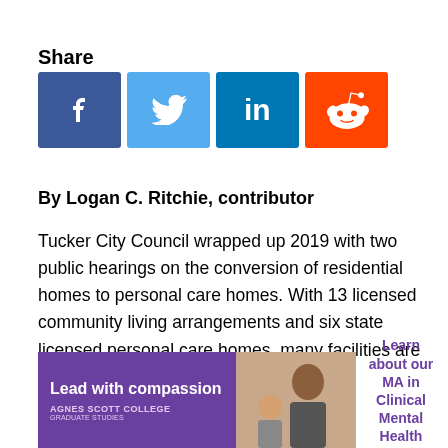Share
[Figure (infographic): Social media share buttons: Facebook (dark blue), Twitter (light blue), LinkedIn (blue), Reddit (orange)]
By Logan C. Ritchie, contributor
Tucker City Council wrapped up 2019 with two public hearings on the conversion of residential homes to personal care homes. With 13 licensed community living arrangements and six state licensed personal care homes, many facilities are tucked into residential streets.
[Figure (infographic): Agnes Scott College advertisement: Lead with compassion - MA in Clinical Mental Health Counseling]